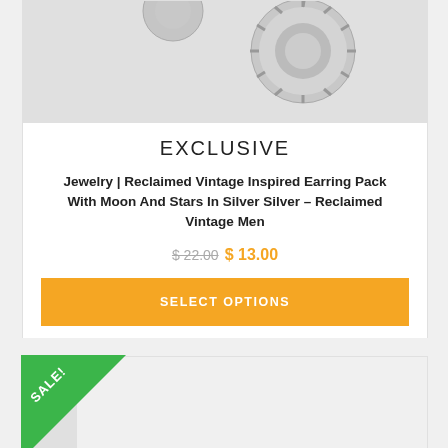[Figure (photo): Silver earring product photo on grey background, partially cropped at top]
EXCLUSIVE
Jewelry | Reclaimed Vintage Inspired Earring Pack With Moon And Stars In Silver Silver – Reclaimed Vintage Men
$ 22.00  $ 13.00
SELECT OPTIONS
[Figure (photo): Second product photo, partially visible at bottom of page, with SALE! badge]